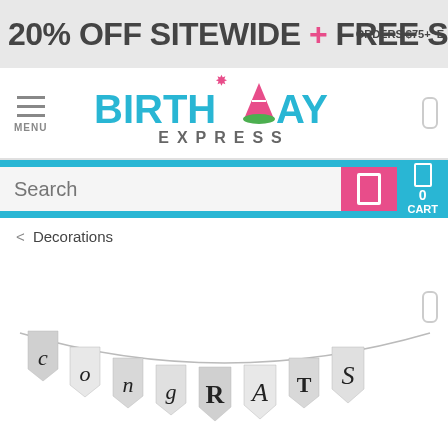20% OFF SITEWIDE + FREE S ORDERS $75+ E
[Figure (logo): Birthday Express logo with party hat graphic, teal text reading BIRTHDAY EXPRESS]
Search
0 CART
< Decorations
[Figure (photo): Partial view of a glitter silver pennant banner reading CONGRATS on a string against white background]